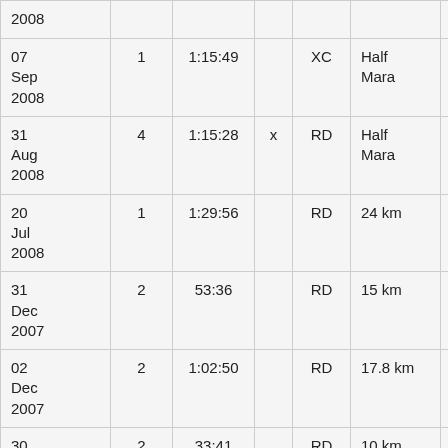| Date |  | Time |  | Surface | Distance |  |
| --- | --- | --- | --- | --- | --- | --- |
| 2008 |  |  |  |  |  |  |
| 07 Sep 2008 | 1 | 1:15:49 |  | XC | Half Mara | C |
| 31 Aug 2008 | 4 | 1:15:28 | x | RD | Half Mara | R B |
| 20 Jul 2008 | 1 | 1:29:56 |  | RD | 24 km | A |
| 31 Dec 2007 | 2 | 53:36 |  | RD | 15 km | S B |
| 02 Dec 2007 | 2 | 1:02:50 |  | RD | 17.8 km | B H B |
| 30 Sep | 2 | 33:41 |  | RD | 10 km | S F |